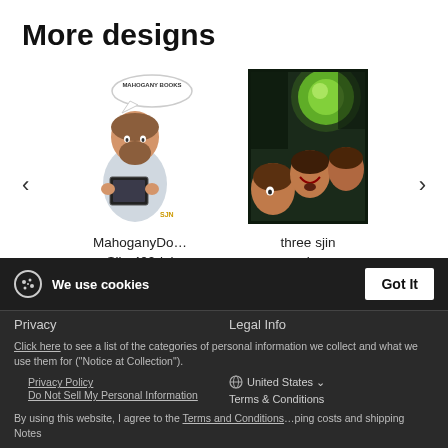More designs
[Figure (illustration): Cartoon illustration of a bearded man holding a tablet/book with a speech bubble reading 'MAHOGANY BOOKS' and label 'SJN' at bottom]
MahoganyDo… Sjin 400dpi png
[Figure (illustration): Fantasy/digital art illustration of three men looking up at a green glowing object]
three sjin ranium transparentbk png
We use cookies
Privacy
Legal Info
Click here to see a list of the categories of personal information we collect and what we use them for ("Notice at Collection").
United States
Privacy Policy
Do Not Sell My Personal Information
Terms & Conditions
By using this website, I agree to the Terms and Conditions
…ping costs and shipping Notes